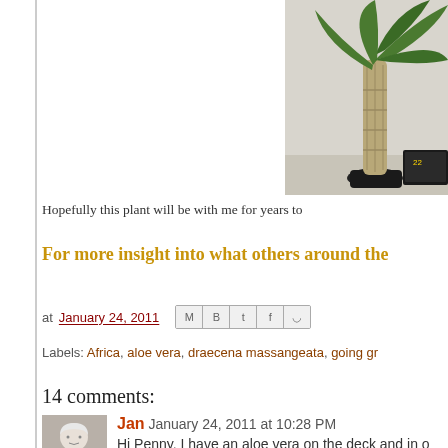[Figure (photo): A tall dracaena massangeata plant with green leaves and braided/textured trunk, photographed indoors against a light wall]
Hopefully this plant will be with me for years to
For more insight into what others around the
at January 24, 2011
Labels: Africa, aloe vera, draecena massangeata, going gr
14 comments:
Jan January 24, 2011 at 10:28 PM
Hi Penny, I have an aloe vera on the deck and in o